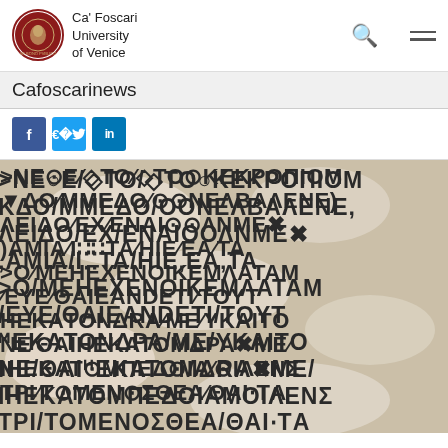Ca' Foscari University of Venice
Cafoscarinews
[Figure (logo): Social media share buttons: Facebook, Twitter, LinkedIn]
[Figure (photo): Ancient Greek stone inscription with fragmentary marble pieces overlaid on text reading Greek characters: NEOEJTOSTOKEKROPIOM, EDOMMEDOIOONET BALENE, LEIDOSEX3ENAIOOAMEX, AMIAS|TASHIEREAXTA, OSMEHEXENOIKEMATAM, EYESΘAIEANDETI5TOYT, HEKATON DRAXMES KAITO, NEOΘAIHEKATOMDRA XME5, IHEKATOMPEDOIA MOILEN, TRISTOMENOSZΘEASΘAITA]